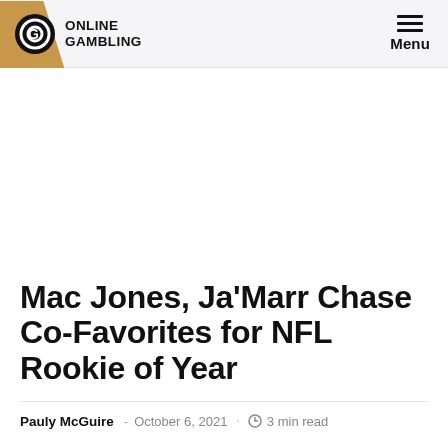ONLINE GAMBLING | Menu
Mac Jones, Ja’Marr Chase Co-Favorites for NFL Rookie of Year
Pauly McGuire - October 6, 2021 · 3 min read